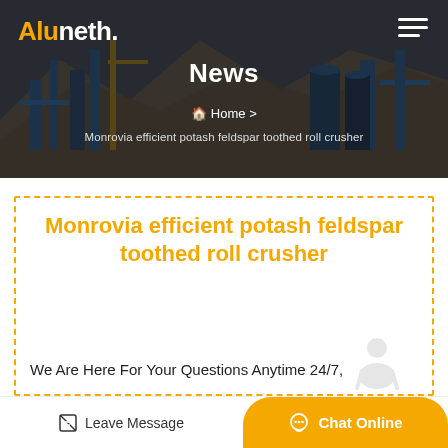Aluneth. News | Home > Monrovia efficient potash feldspar toothed roll crusher
Monrovia efficient potash feldspar toothed roll crusher
We Are Here For Your Questions Anytime 24/7,
Leave Message | Chat Online